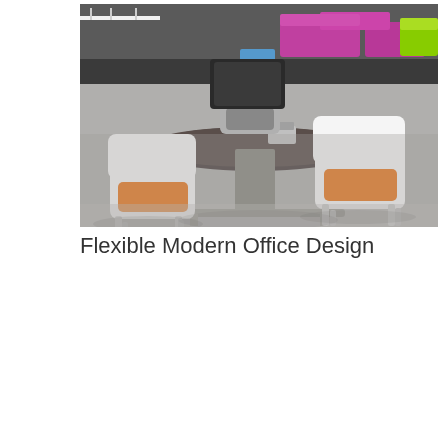[Figure (photo): Modern open office or cafeteria space with round dark table, white and orange chairs in the foreground, and purple/magenta sofas and green chairs in the colorful background on a grey floor.]
Flexible Modern Office Design